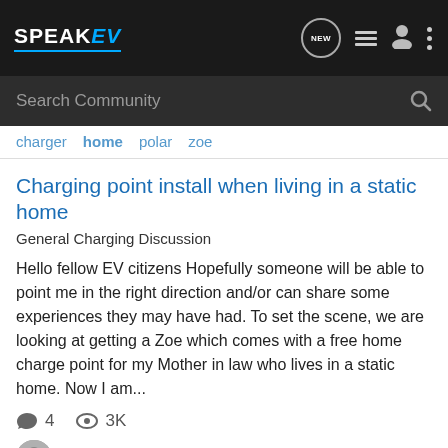SPEAK EV — NEW | list | user | menu icons
Search Community
charger  home  polar  zoe
Charging point install when living in a static home
General Charging Discussion
Hello fellow EV citizens Hopefully someone will be able to point me in the right direction and/or can share some experiences they may have had. To set the scene, we are looking at getting a Zoe which comes with a free home charge point for my Mother in law who lives in a static home. Now I am...
4 replies  3K views
Deadphill · Oct 8, 2015
caravan  caravan park  ev static home  home  static